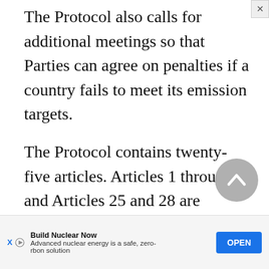The Protocol also calls for additional meetings so that Parties can agree on penalties if a country fails to meet its emission targets.
The Protocol contains twenty-five articles. Articles 1 through 3 and Articles 25 and 28 are included here. Also included are Annexes A and B. Annex A identifies greenhouse gases and sources of greenhouse gases. Annex B lists the Parties to the agr[eement and their quantified emission] con[trol and reduction commitments]